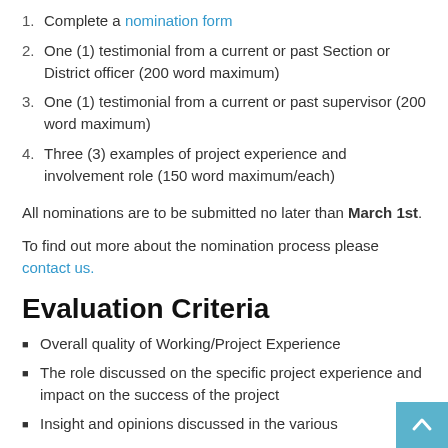1. Complete a nomination form
2. One (1) testimonial from a current or past Section or District officer (200 word maximum)
3. One (1) testimonial from a current or past supervisor (200 word maximum)
4. Three (3) examples of project experience and involvement role (150 word maximum/each)
All nominations are to be submitted no later than March 1st.
To find out more about the nomination process please contact us.
Evaluation Criteria
Overall quality of Working/Project Experience
The role discussed on the specific project experience and impact on the success of the project
Insight and opinions discussed in the various